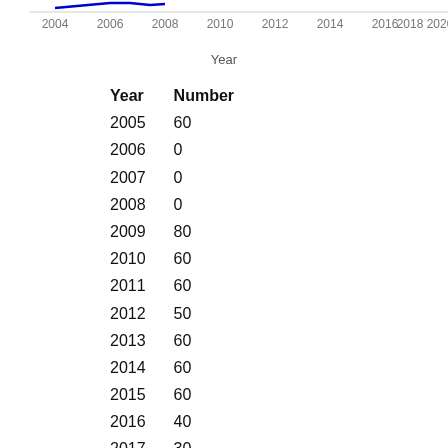[Figure (line-chart): Partial top of a line chart showing x-axis tick labels from 2004 to 2020 and the bottom portion of a line/curve in blue, and a 'Year' x-axis label below.]
| Year | Number |
| --- | --- |
| 2005 | 60 |
| 2006 | 0 |
| 2007 | 0 |
| 2008 | 0 |
| 2009 | 80 |
| 2010 | 60 |
| 2011 | 60 |
| 2012 | 50 |
| 2013 | 60 |
| 2014 | 60 |
| 2015 | 60 |
| 2016 | 40 |
| 2017 | 30 |
| 2018 | 30 |
| 2019 | 40 |